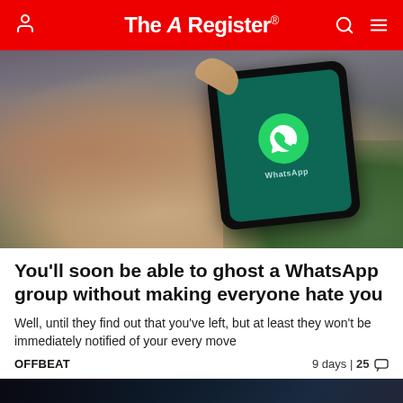The Register
[Figure (photo): Person holding a smartphone displaying the WhatsApp app icon on a teal background, outdoors with greenery visible]
You'll soon be able to ghost a WhatsApp group without making everyone hate you
Well, until they find out that you've left, but at least they won't be immediately notified of your every move
OFFBEAT	9 days | 25 💬
[Figure (photo): Dark image with partial text reading 'protect' or similar, second article image cropped at bottom of page]